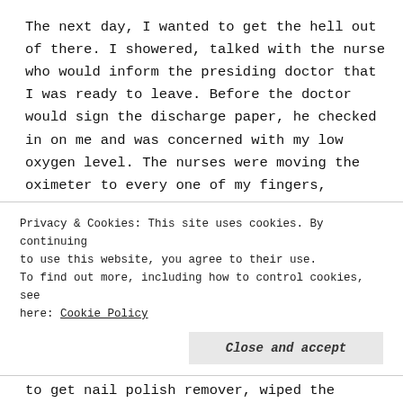The next day, I wanted to get the hell out of there. I showered, talked with the nurse who would inform the presiding doctor that I was ready to leave. Before the doctor would sign the discharge paper, he checked in on me and was concerned with my low oxygen level. The nurses were moving the oximeter to every one of my fingers, looking for a healthy reading. Finally, I spoke up and
Privacy & Cookies: This site uses cookies. By continuing to use this website, you agree to their use. To find out more, including how to control cookies, see here: Cookie Policy
Close and accept
to get nail polish remover, wiped the